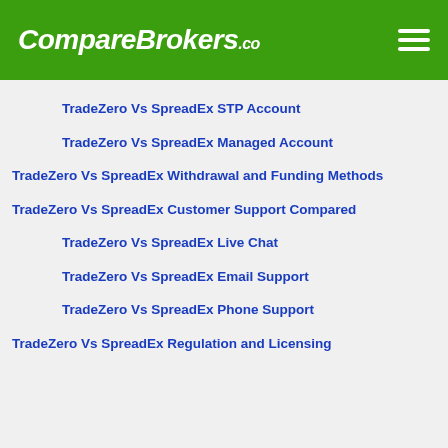CompareBrokers.co
TradeZero Vs SpreadEx STP Account
TradeZero Vs SpreadEx Managed Account
TradeZero Vs SpreadEx Withdrawal and Funding Methods
TradeZero Vs SpreadEx Customer Support Compared
TradeZero Vs SpreadEx Live Chat
TradeZero Vs SpreadEx Email Support
TradeZero Vs SpreadEx Phone Support
TradeZero Vs SpreadEx Regulation and Licensing